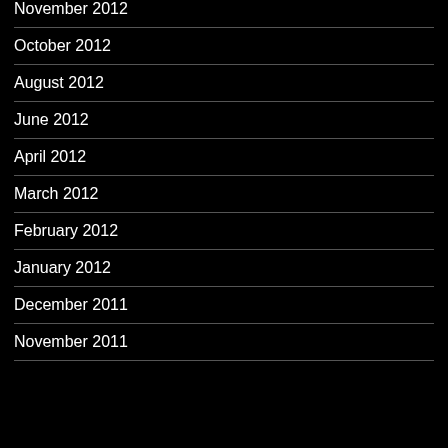November 2012
October 2012
August 2012
June 2012
April 2012
March 2012
February 2012
January 2012
December 2011
November 2011